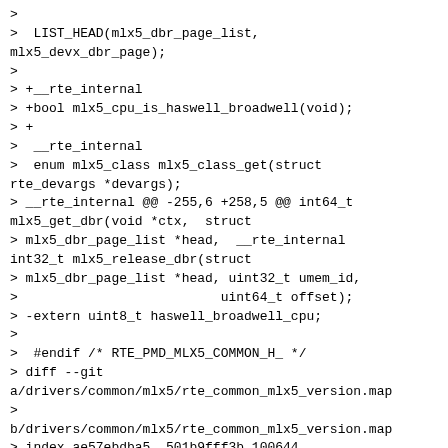>
>  LIST_HEAD(mlx5_dbr_page_list,
mlx5_devx_dbr_page);
>
> +__rte_internal
> +bool mlx5_cpu_is_haswell_broadwell(void);
> +
>  __rte_internal
>  enum mlx5_class mlx5_class_get(struct
rte_devargs *devargs);
> __rte_internal @@ -255,6 +258,5 @@ int64_t
mlx5_get_dbr(void *ctx,  struct
> mlx5_dbr_page_list *head,  __rte_internal
int32_t mlx5_release_dbr(struct
> mlx5_dbr_page_list *head, uint32_t umem_id,
>                          uint64_t offset);
> -extern uint8_t haswell_broadwell_cpu;
>
>  #endif /* RTE_PMD_MLX5_COMMON_H_ */
> diff --git
a/drivers/common/mlx5/rte_common_mlx5_version.map
>
b/drivers/common/mlx5/rte_common_mlx5_version.map
> index ae57ebdba5..501b9fff3b 100644
> ---
a/drivers/common/mlx5/rte_common_mlx5_version.map
> +++
b/drivers/common/mlx5/rte_common_mlx5_version.map
> @@ -6,6 +6,8 @@ INTERNAL {
>       mlx5_common_verbs_req_mr;